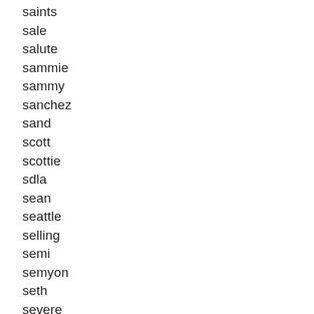saints
sale
salute
sammie
sammy
sanchez
sand
scott
scottie
sdla
sean
seattle
selling
semi
semyon
seth
severe
shane
shannon
shaq
shaquille